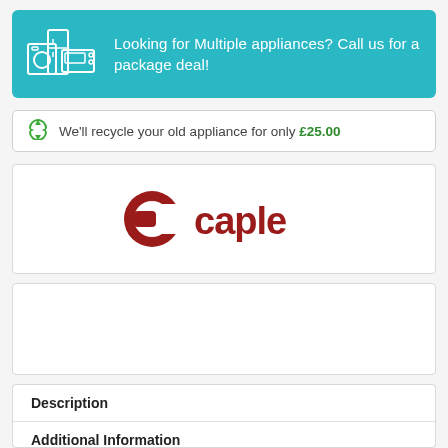Looking for Multiple appliances? Call us for a package deal!
We'll recycle your old appliance for only £25.00
[Figure (logo): Caple brand logo — red stylized C icon followed by 'caple' in red lowercase letters]
Description
Additional Information
Reviews